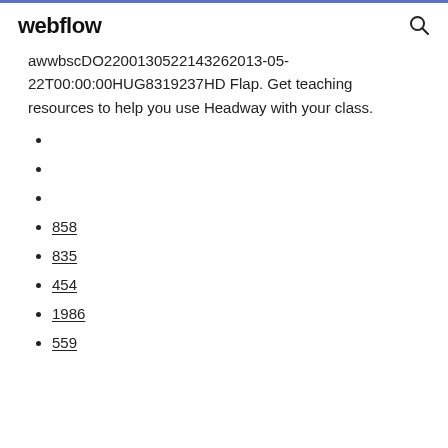webflow
awwbscDO2200130522143262013-05-22T00:00:00HUG8319237HD Flap. Get teaching resources to help you use Headway with your class.
858
835
454
1986
559